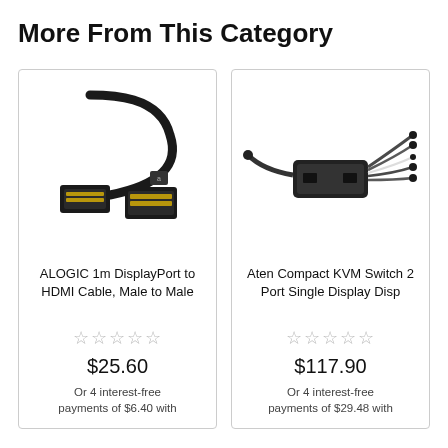More From This Category
[Figure (photo): ALOGIC 1m DisplayPort to HDMI Cable product photo showing a black cable with DisplayPort and HDMI connectors]
ALOGIC 1m DisplayPort to HDMI Cable, Male to Male
☆☆☆☆☆
$25.60
Or 4 interest-free payments of $6.40 with
[Figure (photo): Aten Compact KVM Switch 2 Port product photo showing a black KVM switch device with multiple cables]
Aten Compact KVM Switch 2 Port Single Display Disp
☆☆☆☆☆
$117.90
Or 4 interest-free payments of $29.48 with